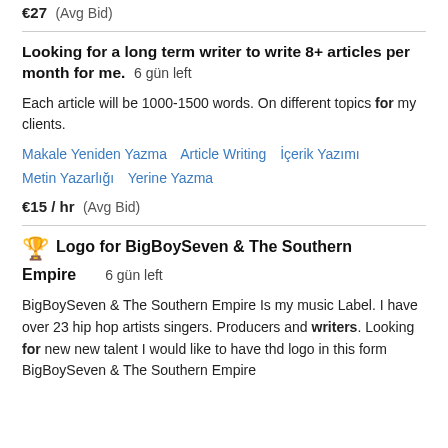€27  (Avg Bid)
Looking for a long term writer to write 8+ articles per month for me.  6 gün left
Each article will be 1000-1500 words. On different topics for my clients.
Makale Yeniden Yazma   Article Writing   İçerik Yazımı   Metin Yazarlığı   Yerine Yazma
€15 / hr  (Avg Bid)
Logo for BigBoySeven & The Southern Empire  6 gün left
BigBoySeven & The Southern Empire Is my music Label. I have over 23 hip hop artists singers. Producers and writers. Looking for new new talent I would like to have thd logo in this form BigBoySeven & The Southern Empire